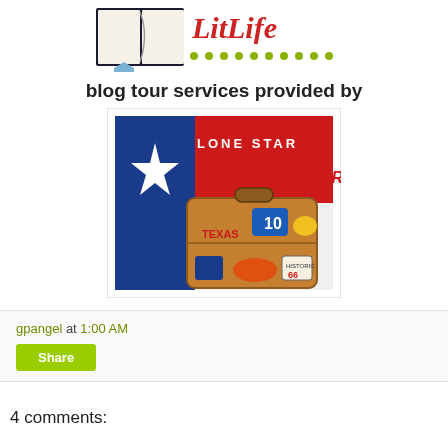[Figure (logo): LitLife logo with open book graphic and dotted green line]
blog tour services provided by
[Figure (logo): Lone Star Book Blog Tours logo featuring Texas flag colors with suitcase and travel stickers]
gpangel at 1:00 AM
Share
4 comments: